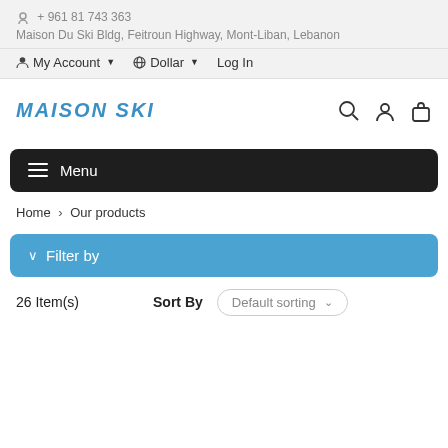+ 961 81 743 363
Maison Du Ski Bldg, Feitroun Highway, Mont-Liban, Lebanon
My Account  Dollar  Log In
[Figure (logo): Maison Ski logo in blue italic text, partially visible]
≡ Menu
Home > Our products
∨ Filter by
26 Item(s)  Sort By  Default sorting